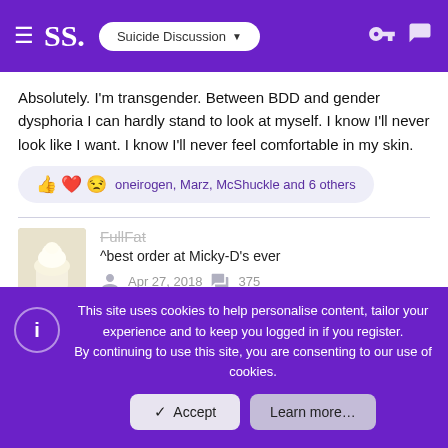SS. Suicide Discussion
Absolutely. I'm transgender. Between BDD and gender dysphoria I can hardly stand to look at myself. I know I'll never look like I want. I know I'll never feel comfortable in my skin.
oneirogen, Marz, McShuckle and 6 others
FullFat
^best order at Micky-D's ever
Apr 27, 2018   375
May 29, 2018   #13
This site uses cookies to help personalise content, tailor your experience and to keep you logged in if you register.
By continuing to use this site, you are consenting to our use of cookies.
Accept   Learn more…